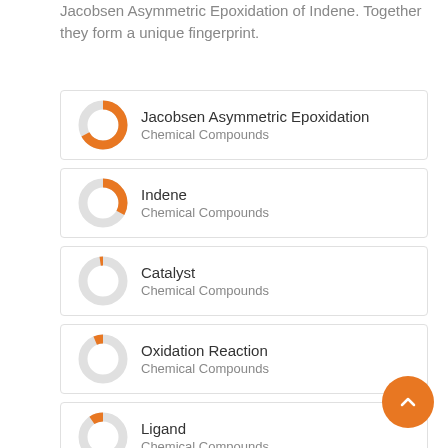Jacobsen Asymmetric Epoxidation of Indene. Together they form a unique fingerprint.
[Figure (donut-chart): Donut chart ~92% filled orange]
Jacobsen Asymmetric Epoxidation
Chemical Compounds
[Figure (donut-chart): Donut chart ~58% filled orange]
Indene
Chemical Compounds
[Figure (donut-chart): Donut chart ~22% filled orange]
Catalyst
Chemical Compounds
[Figure (donut-chart): Donut chart ~18% filled orange]
Oxidation Reaction
Chemical Compounds
[Figure (donut-chart): Donut chart ~15% filled orange]
Ligand
Chemical Compounds
[Figure (donut-chart): Donut chart ~14% filled orange]
Enantioselectivity
Chemical Compounds